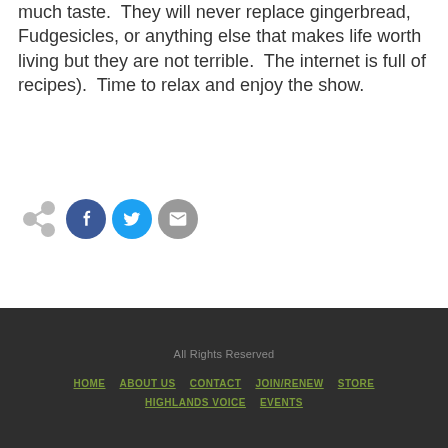much taste.  They will never replace gingerbread, Fudgesicles, or anything else that makes life worth living but they are not terrible.  The internet is full of recipes).  Time to relax and enjoy the show.
[Figure (infographic): Social share icons: a gray share icon, a blue Facebook circle icon with 'f', a cyan Twitter circle icon with bird, and a gray email circle icon with envelope]
All Rights Reserved  HOME  ABOUT US  CONTACT  JOIN/RENEW  STORE  HIGHLANDS VOICE  EVENTS